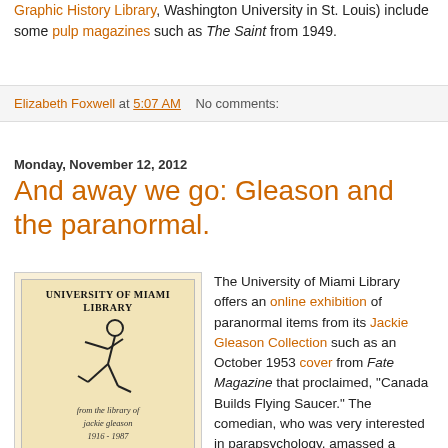Graphic History Library, Washington University in St. Louis) include some pulp magazines such as The Saint from 1949.
Elizabeth Foxwell at 5:07 AM   No comments:
Monday, November 12, 2012
And away we go: Gleason and the paranormal.
[Figure (illustration): University of Miami Library bookplate showing a stick figure in a running/dancing pose, with text 'UNIVERSITY of MIAMI LIBRARY' at top and cursive text 'from the library of jackie gleason 1916 - 1987' at bottom, on a tan/cream background.]
The University of Miami Library offers an online exhibition of paranormal items from its Jackie Gleason Collection such as an October 1953 cover from Fate Magazine that proclaimed, "Canada Builds Flying Saucer." The comedian, who was very interested in parapsychology, amassed a substantial collection on the subject.